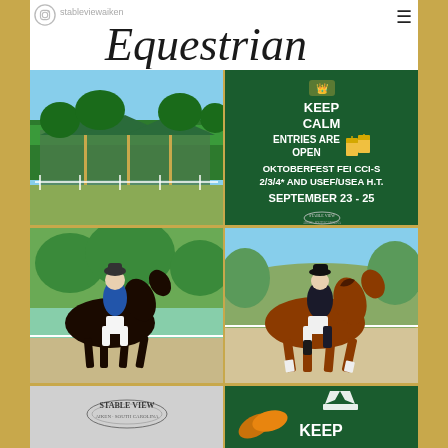stableviewaiken
Equestrian
[Figure (photo): Equestrian arena with green shade structures and white fencing, outdoor facility with trees in background]
[Figure (infographic): Green promotional card: KEEP CALM ENTRIES ARE OPEN OKTOBERFEST FEI CCI-S 2/3/4* AND USEF/USEA H.T. SEPTEMBER 23 - 25 with Stable View logo]
[Figure (photo): Equestrian rider in blue polo shirt on dark bay horse performing dressage in outdoor arena]
[Figure (photo): Equestrian rider in black jacket on chestnut horse performing dressage in outdoor arena]
[Figure (photo): Stable View logo on light gray background, bottom left]
[Figure (infographic): Green promotional card bottom portion with KEEP text and leaf/crown decorations]